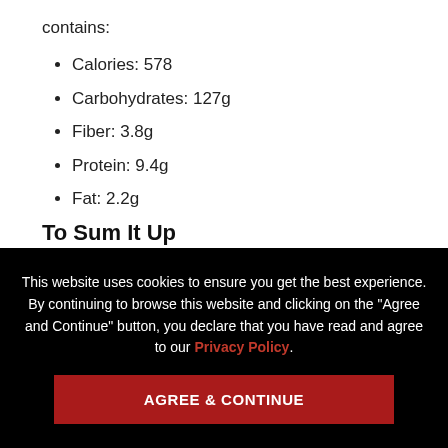contains:
Calories: 578
Carbohydrates: 127g
Fiber: 3.8g
Protein: 9.4g
Fat: 2.2g
To Sum It Up
This website uses cookies to ensure you get the best experience. By continuing to browse this website and clicking on the “Agree and Continue” button, you declare that you have read and agree to our Privacy Policy.
AGREE & CONTINUE